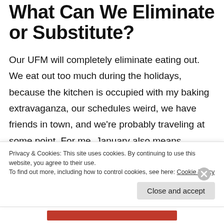What Can We Eliminate or Substitute?
Our UFM will completely eliminate eating out. We eat out too much during the holidays, because the kitchen is occupied with my baking extravaganza, our schedules weird, we have friends in town, and we're probably traveling at some point. For me, January also means eliminating alcohol. As far as substitutions go,
Privacy & Cookies: This site uses cookies. By continuing to use this website, you agree to their use.
To find out more, including how to control cookies, see here: Cookie Policy
Close and accept